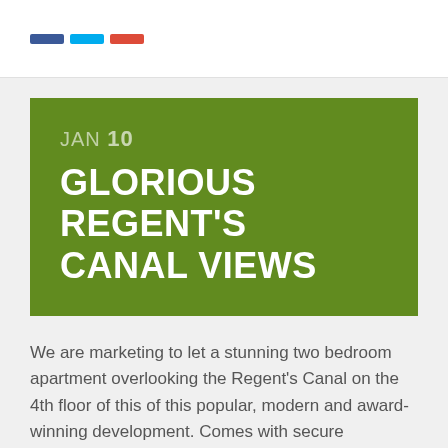[Figure (other): Social sharing icon bars — blue, cyan, and red colored bars representing Facebook, Twitter, and Google+ share buttons]
JAN 10
GLORIOUS REGENT'S CANAL VIEWS
We are marketing to let a stunning two bedroom apartment overlooking the Regent's Canal on the 4th floor of this of this popular, modern and award-winning development. Comes with secure underground parking and Concierge service. Take the video tour below or